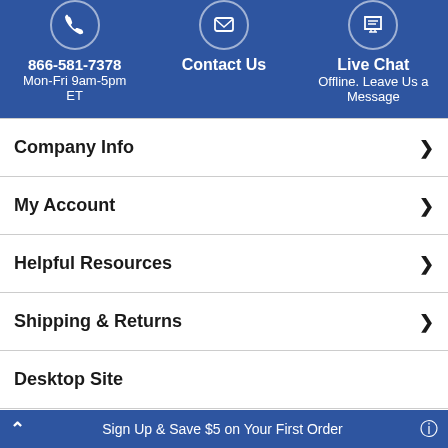866-581-7378 Mon-Fri 9am-5pm ET | Contact Us | Live Chat Offline. Leave Us a Message
Company Info
My Account
Helpful Resources
Shipping & Returns
Desktop Site
Sign In
Sign Up & Save $5 on Your First Order